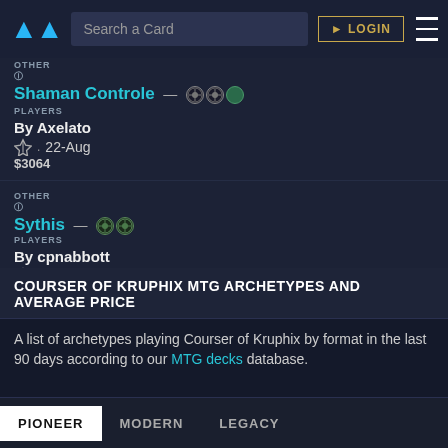Search a Card | LOGIN
Shaman Controle — By Axelato · 22-Aug · $3064 · OTHER · PLAYERS
Sythis — By cpnabbott · 21-Aug · $236 · OTHER · PLAYERS
Jund Lands — By Tireless_Slacker · 21-Aug · $2650 · OTHER · PLAYERS
COURSER OF KRUPHIX MTG ARCHETYPES AND AVERAGE PRICE
A list of archetypes playing Courser of Kruphix by format in the last 90 days according to our MTG decks database.
PIONEER   MODERN   LEGACY